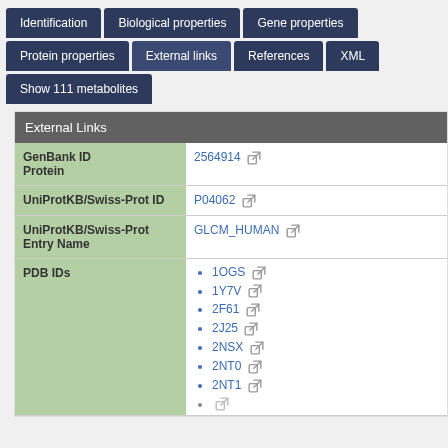[Figure (screenshot): Navigation tab bar with tabs: Identification, Biological properties, Gene properties, Protein properties, External links, References, XML, Show 111 metabolites]
External Links
| Field | Value |
| --- | --- |
| GenBank ID Protein | 2564914 |
| UniProtKB/Swiss-Prot ID | P04062 |
| UniProtKB/Swiss-Prot Entry Name | GLCM_HUMAN |
| PDB IDs | 1OGS, 1Y7V, 2F61, 2J25, 2NSX, 2NT0, 2NT1 |